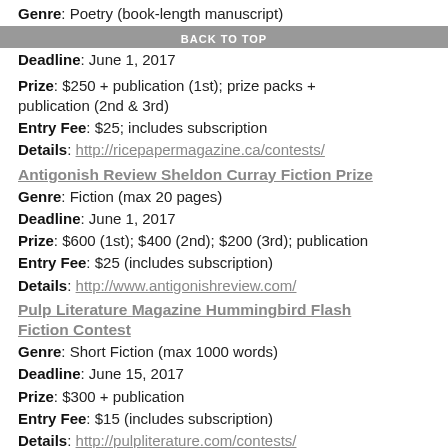Genre: Poetry (book-length manuscript)
BACK TO TOP
Deadline: June 1, 2017
Prize: $250 + publication (1st); prize packs + publication (2nd & 3rd)
Entry Fee: $25; includes subscription
Details: http://ricepapermagazine.ca/contests/
Antigonish Review Sheldon Curray Fiction Prize
Genre: Fiction (max 20 pages)
Deadline: June 1, 2017
Prize: $600 (1st); $400 (2nd); $200 (3rd); publication
Entry Fee: $25 (includes subscription)
Details: http://www.antigonishreview.com/
Pulp Literature Magazine Hummingbird Flash Fiction Contest
Genre: Short Fiction (max 1000 words)
Deadline: June 15, 2017
Prize: $300 + publication
Entry Fee: $15 (includes subscription)
Details: http://pulpliterature.com/contests/